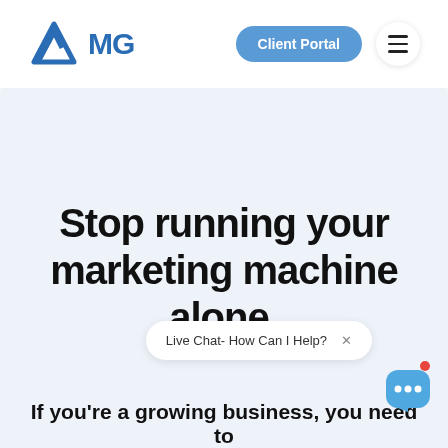AMG — Client Portal [navigation button] [hamburger menu]
Stop running your marketing machine alone.
If you're a growing business, you need to
[Figure (other): Live Chat popup widget with text 'Live Chat- How Can I Help?' and a close X button, alongside a chat bubble icon with blue ellipsis and a red notification dot]